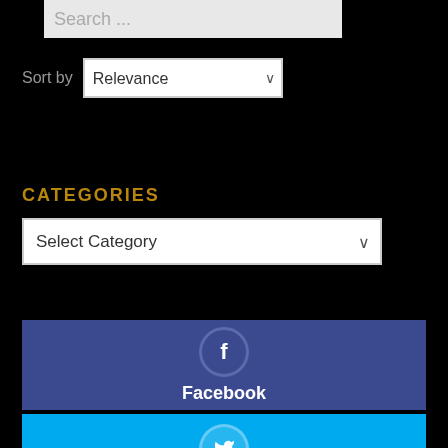[Figure (screenshot): Search input field with placeholder text 'Search ...' on a light gray background]
Sort by Relevance
CATEGORIES
Select Category
[Figure (screenshot): Facebook social media button with blue-purple background, circle 'f' icon, and 'Facebook' label in white]
[Figure (screenshot): Twitter social media button with cyan background and circle Twitter bird icon]